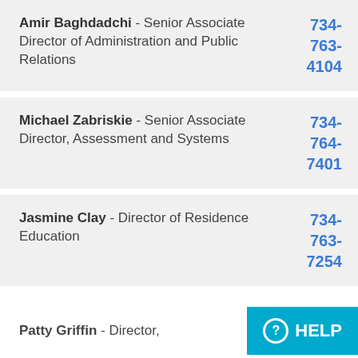Amir Baghdadchi - Senior Associate Director of Administration and Public Relations | 734-763-4104
Michael Zabriskie - Senior Associate Director, Assessment and Systems | 734-764-7401
Jasmine Clay - Director of Residence Education | 734-763-7254
Patty Griffin - Director,